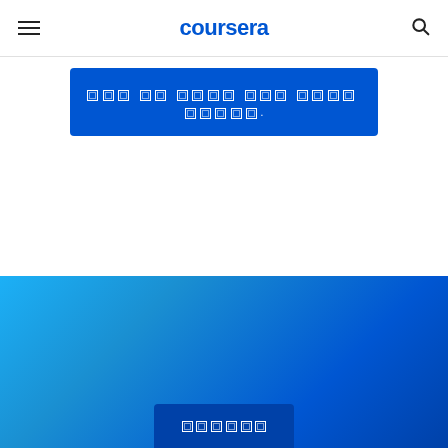coursera
□□□ □□ □□□□ □□□ □□□□ □□□□□.
[Figure (screenshot): White section below header with empty content area]
Coursera □□□□□□ □□□□□□
□□□□ □□□□ □□□□□□□ □□, □□□□□□□ □ □□□□ □□□□□□□□.
□□□□□□